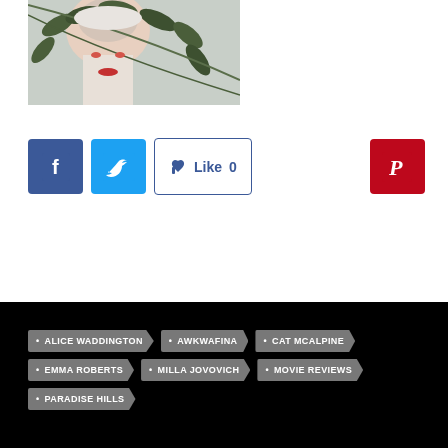[Figure (photo): Woman with plant leaves overlay, close-up portrait with red lips]
[Figure (infographic): Social media buttons: Facebook (blue), Twitter (light blue), Like button (white/blue outline with thumbs up and count 0), Pinterest (red)]
ALICE WADDINGTON
AWKWAFINA
CAT MCALPINE
EMMA ROBERTS
MILLA JOVOVICH
MOVIE REVIEWS
PARADISE HILLS